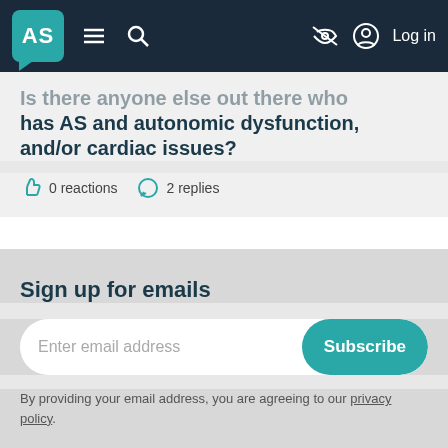AS | Log in
Is there anyone else out there who has AS and autonomic dysfunction, and/or cardiac issues?
0 reactions   2 replies
Sign up for emails
Enter email address  Subscribe
By providing your email address, you are agreeing to our privacy policy.
Follo